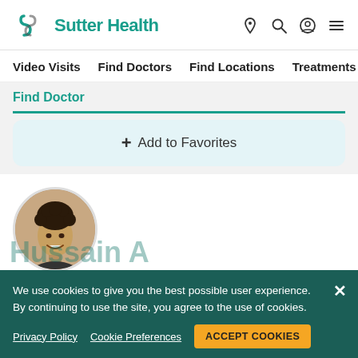Sutter Health
Video Visits   Find Doctors   Find Locations   Treatments
Find Doctor
+ Add to Favorites
[Figure (photo): Circular profile photo of a male doctor with curly dark hair, smiling]
Hussain A
We use cookies to give you the best possible user experience. By continuing to use the site, you agree to the use of cookies.
Privacy Policy   Cookie Preferences   ACCEPT COOKIES